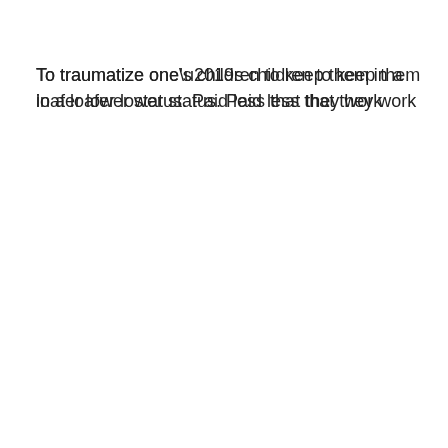To traumatize one’s children to keep them in a loafer lower status. Paid less that they work
and lure
and psychically afraid raid and dependent. Dependency. Pd edent.
and lure.
To be sam aller but gathering knowledge enough on e